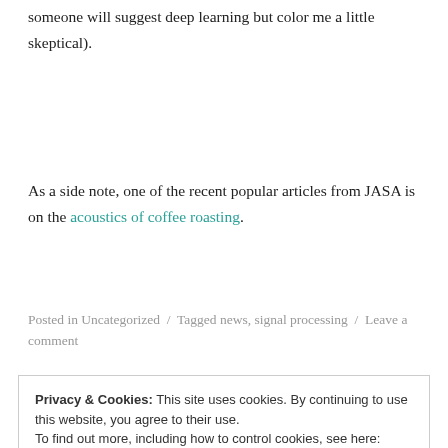someone will suggest deep learning but color me a little skeptical).
As a side note, one of the recent popular articles from JASA is on the acoustics of coffee roasting.
Posted in Uncategorized / Tagged news, signal processing / Leave a comment
Privacy & Cookies: This site uses cookies. By continuing to use this website, you agree to their use.
To find out more, including how to control cookies, see here: Cookie Policy
Close and accept